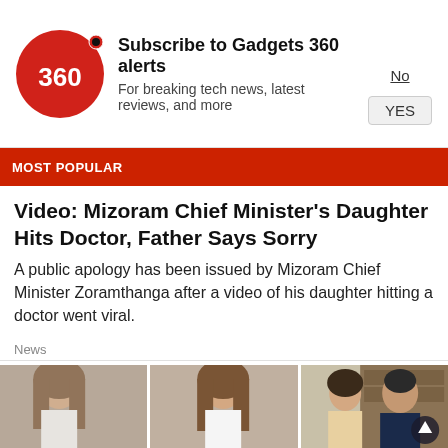[Figure (screenshot): Gadgets 360 notification subscription bar with red circular logo showing '360', bold title 'Subscribe to Gadgets 360 alerts', subtitle 'For breaking tech news, latest reviews, and more', and 'No' / 'YES' buttons]
MOST POPULAR
Video: Mizoram Chief Minister's Daughter Hits Doctor, Father Says Sorry
A public apology has been issued by Mizoram Chief Minister Zoramthanga after a video of his daughter hitting a doctor went viral.
News
[Figure (photo): Three-panel photo collage: two panels showing a young woman with long brown hair wearing a white crop top, and one panel showing a couple (woman in polka dot outfit and man in navy shirt) indoors]